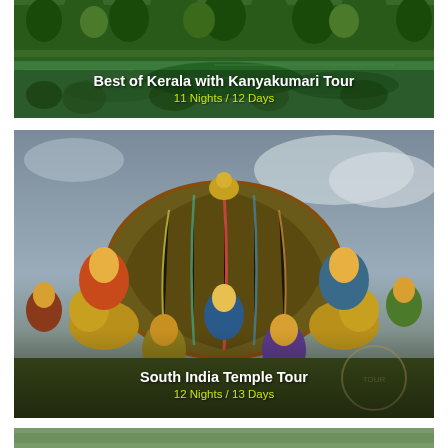[Figure (photo): Lush green Kerala backwater lake scene with trees and reflections, overlaid with tour title text]
[Figure (photo): Colorful South Indian Gopuram temple sculptures with mythological figures, overlaid with tour title text]
[Figure (photo): Partial view of a third tour card at the bottom of the page]